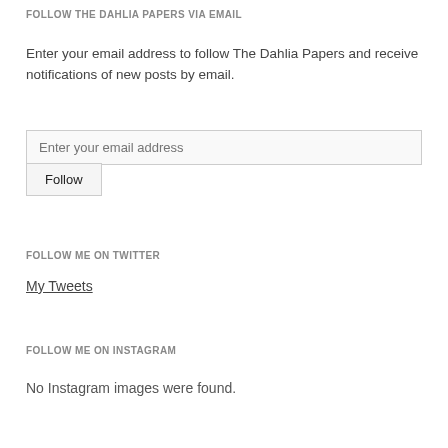FOLLOW THE DAHLIA PAPERS VIA EMAIL
Enter your email address to follow The Dahlia Papers and receive notifications of new posts by email.
Enter your email address
Follow
FOLLOW ME ON TWITTER
My Tweets
FOLLOW ME ON INSTAGRAM
No Instagram images were found.